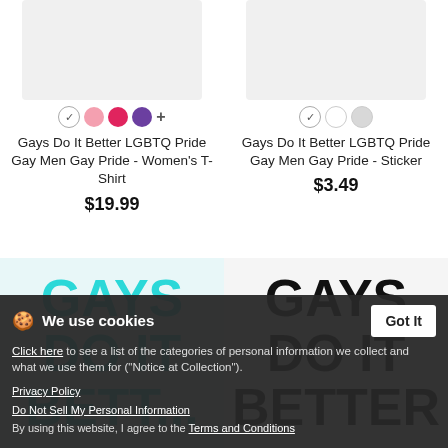[Figure (photo): Product listing page showing two LGBTQ pride products: a Women's T-Shirt and a Sticker, each with color swatches, names, and prices, plus sticker images below. A cookie consent banner overlays the bottom portion.]
Gays Do It Better LGBTQ Pride Gay Men Gay Pride - Women's T-Shirt
$19.99
Gays Do It Better LGBTQ Pride Gay Men Gay Pride - Sticker
$3.49
We use cookies
Click here to see a list of the categories of personal information we collect and what we use them for ("Notice at Collection").
Privacy Policy
Do Not Sell My Personal Information
By using this website, I agree to the Terms and Conditions